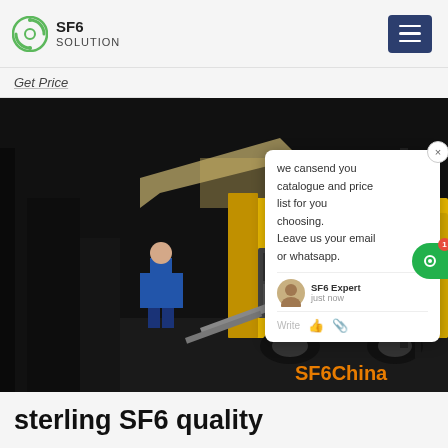SF6 SOLUTION
Get Price
[Figure (photo): Night scene of a yellow utility truck with workers in blue uniforms loading or operating SF6 gas handling equipment. The truck is parked at an industrial facility. A chat popup overlay shows a message from SF6 Expert: 'we cansend you catalogue and price list for you choosing. Leave us your email or whatsapp.' SF6China watermark appears in orange at bottom right.]
sterling SF6 quality